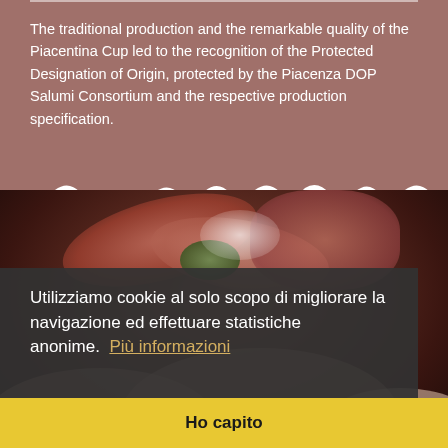The traditional production and the remarkable quality of the Piacentina Cup led to the recognition of the Protected Designation of Origin, protected by the Piacenza DOP Salumi Consortium and the respective production specification.
[Figure (photo): Close-up photo of sliced Italian cured meat (Coppa Piacentina DOP) with red and white marbling, garnished with green herbs]
Utilizziamo cookie al solo scopo di migliorare la navigazione ed effettuare statistiche anonime.  Più informazioni
Ho capito